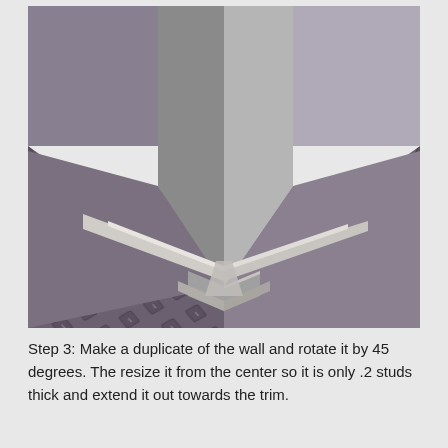[Figure (photo): 3D rendered image showing a corner intersection of two gray walls meeting at a floor covered with a dark patterned diamond-plate texture. White trim molding pieces meet at the corner base, with one piece angled at 45 degrees. The scene appears to be from a 3D modeling application (Roblox Studio or similar).]
Step 3: Make a duplicate of the wall and rotate it by 45 degrees. The resize it from the center so it is only .2 studs thick and extend it out towards the trim.